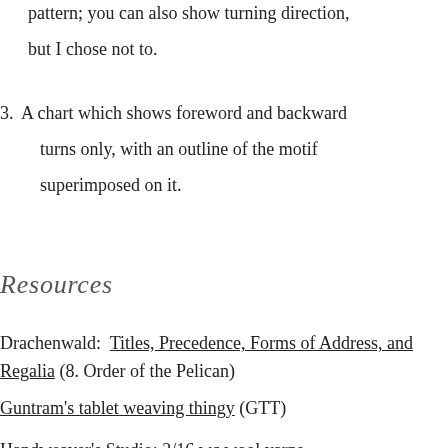pattern; you can also show turning direction, but I chose not to.
3. A chart which shows foreword and backward turns only, with an outline of the motif superimposed on it.
Resources
Drachenwald: Titles, Precedence, Forms of Address, and Regalia (8. Order of the Pelican)
Guntram's tablet weaving thingy (GTT)
Handweaver's Studio: 2/16 wc wool yarns